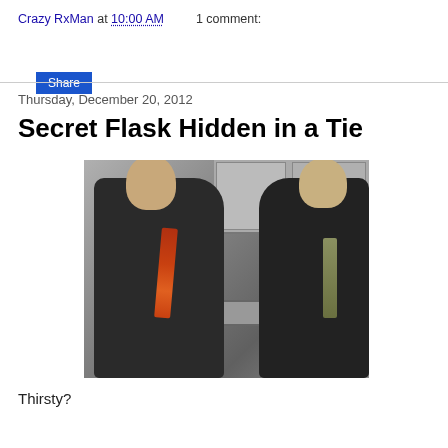Crazy RxMan at 10:00 AM    1 comment:
Share
Thursday, December 20, 2012
Secret Flask Hidden in a Tie
[Figure (photo): Black and white photo of two men in suits standing in a kitchen. The man on the left is drinking from a flask hidden in his tie (a colored striped red/orange tie). The man on the right wears a light olive/khaki tie and appears to be gesturing at him.]
Thirsty?